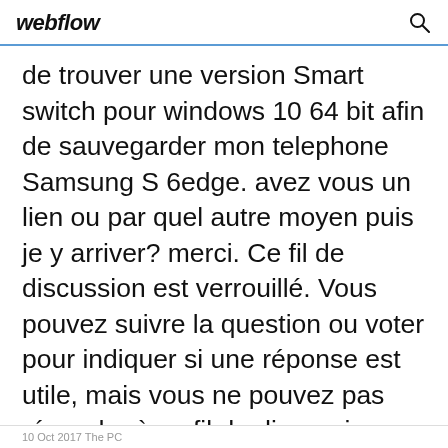webflow
de trouver une version Smart switch pour windows 10 64 bit afin de sauvegarder mon telephone Samsung S 6edge. avez vous un lien ou par quel autre moyen puis je y arriver? merci. Ce fil de discussion est verrouillé. Vous pouvez suivre la question ou voter pour indiquer si une réponse est utile, mais vous ne pouvez pas répondre à ce fil de discussion. J'ai la même
10 Oct 2017 The PC...